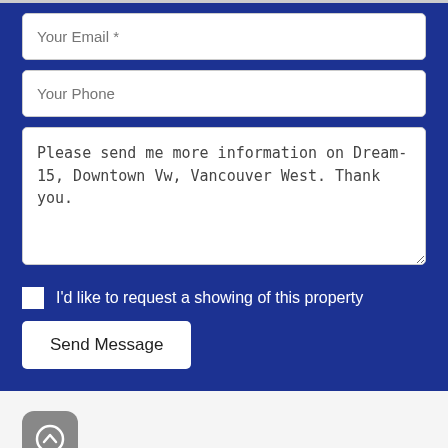Your Email *
Your Phone
Please send me more information on Dream-15, Downtown Vw, Vancouver West. Thank you.
I'd like to request a showing of this property
Send Message
[Figure (illustration): Scroll-to-top button icon with upward arrow, gray rounded square]
CONSUMER